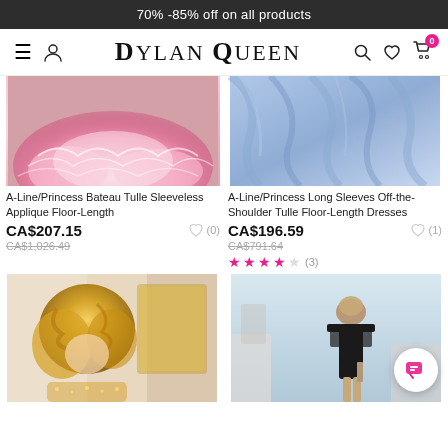70% -85% off on all products
[Figure (screenshot): Dylan Queen navigation bar with hamburger menu, user icon, logo, search, wishlist, and cart icons]
[Figure (photo): Pink tulle ballgown floor-length dress closeup]
A-Line/Princess Bateau Tulle Sleeveless Applique Floor-Length
CA$207.15
CA$1,026.49
[Figure (photo): Light blue satin off-the-shoulder floor-length dress]
A-Line/Princess Long Sleeves Off-the-Shoulder Tulle Floor-Length Dresses
CA$196.59
CA$791.64
★★★★☆ (3)
[Figure (photo): Blonde woman in gold sequin off-shoulder dress]
[Figure (photo): Woman in black off-shoulder tight dress outdoor]